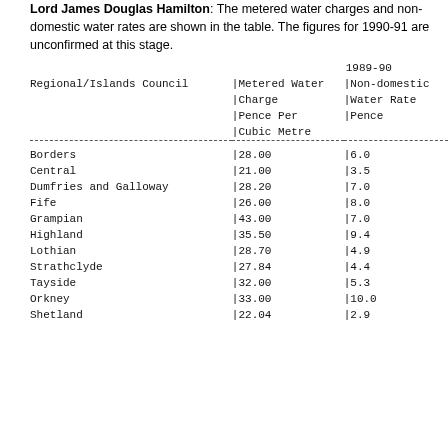Lord James Douglas Hamilton: The metered water charges and non-domestic water rates are shown in the table. The figures for 1990-91 are unconfirmed at this stage.
| Regional/Islands Council | Metered Water Charge Pence Per Cubic Metre (1989-90) | Non-domestic Water Rate Pence (1989-90) |
| --- | --- | --- |
| Borders | 28.00 | 6.0 |
| Central | 21.00 | 3.5 |
| Dumfries and Galloway | 28.20 | 7.0 |
| Fife | 26.00 | 8.0 |
| Grampian | 43.00 | 7.0 |
| Highland | 35.50 | 9.4 |
| Lothian | 28.70 | 4.9 |
| Strathclyde | 27.84 | 4.4 |
| Tayside | 32.00 | 5.3 |
| Orkney | 33.00 | 10.0 |
| Shetland | 22.04 | 2.9 |